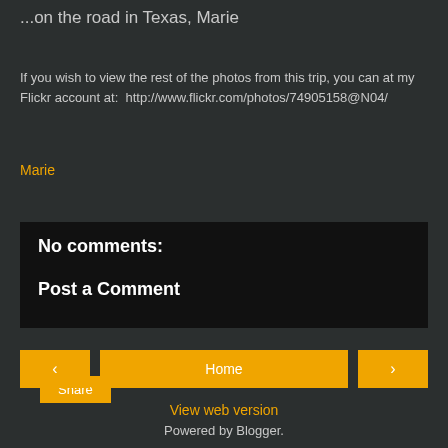...on the road in Texas, Marie
If you wish to view the rest of the photos from this trip, you can at my Flickr account at:  http://www.flickr.com/photos/74905158@N04/
Marie
Share
No comments:
Post a Comment
< Home >
View web version
Powered by Blogger.